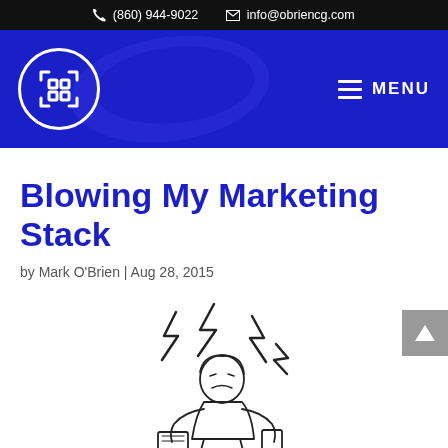(860) 944-9022  info@obriencg.com
[Figure (logo): O'Brien Consulting Group logo — white bracket/frame icon inside a white circle on dark blue navigation bar, with hamburger menu and MENU text on the right]
Blowing My Marketing Stack
by Mark O'Brien | Aug 28, 2015
[Figure (illustration): Black and white line drawing of a frustrated person surrounded by lightning bolts and electronic devices, appearing overwhelmed]